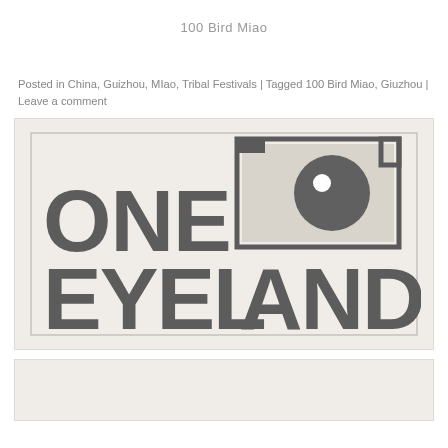100 Bird Miao
Posted in China, Guizhou, MIao, Tribal Festivals | Tagged 100 Bird Miao, Giuzhou | Leave a comment
[Figure (logo): ONE EYELAND logo with camera icon - bold dark gray text reading ONE EYELAND with a stylized camera graphic to the upper right, on a light cream/beige background]